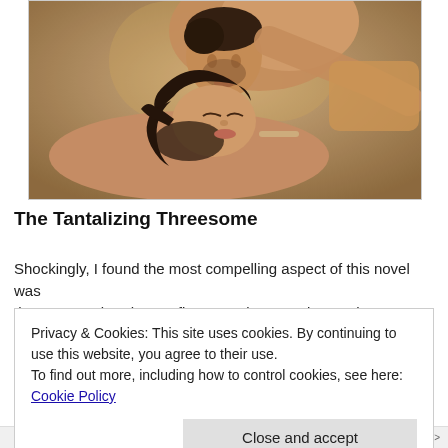[Figure (photo): A romantic/intimate couple photograph showing a man and woman in a close embrace, about to kiss, with warm tones and soft lighting.]
The Tantalizing Threesome
Shockingly, I found the most compelling aspect of this novel was that Jace and Bethany's first sexual escapade together was
Privacy & Cookies: This site uses cookies. By continuing to use this website, you agree to their use.
To find out more, including how to control cookies, see here: Cookie Policy

Close and accept